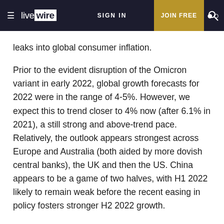live wire  SIGN IN  JOIN FREE
leaks into global consumer inflation.
Prior to the evident disruption of the Omicron variant in early 2022, global growth forecasts for 2022 were in the range of 4-5%. However, we expect this to trend closer to 4% now (after 6.1% in 2021), a still strong and above-trend pace. Relatively, the outlook appears strongest across Europe and Australia (both aided by more dovish central banks), the UK and then the US. China appears to be a game of two halves, with H1 2022 likely to remain weak before the recent easing in policy fosters stronger H2 2022 growth.
Rising bond yields suggest the rotation from tech will continue